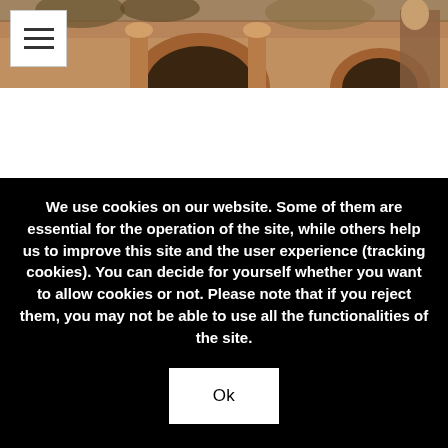[Figure (photo): Partial view of a classical architectural scene with arches and columns in warm ochre/terracotta tones, partially obscured, with a hamburger menu button overlay in the top-left corner.]
We use cookies on our website. Some of them are essential for the operation of the site, while others help us to improve this site and the user experience (tracking cookies). You can decide for yourself whether you want to allow cookies or not. Please note that if you reject them, you may not be able to use all the functionalities of the site.
Ok